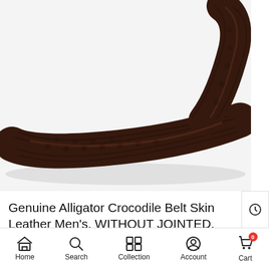[Figure (photo): Close-up photo of a dark brown genuine alligator crocodile skin leather belt, coiled and showing the textured scale pattern.]
Genuine Alligator Crocodile Belt Skin Leather Men's, WITHOUT JOINTED, Dark Brown
🔥 2 sold in last 8 hours
Home  Search  Collection  Account  Cart 0